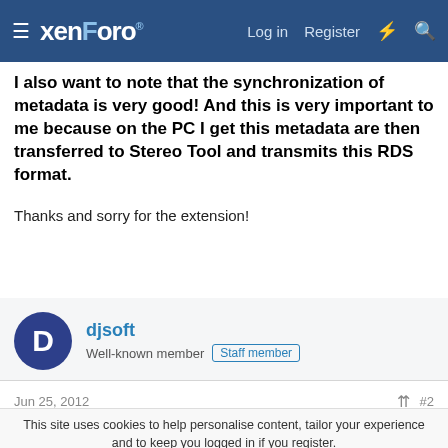xenForo — Log in  Register
I also want to note that the synchronization of metadata is very good! And this is very important to me because on the PC I get this metadata are then transferred to Stereo Tool and transmits this RDS format.
Thanks and sorry for the extension!
djsoft
Well-known member  Staff member
Jun 25, 2012  #2
This site uses cookies to help personalise content, tailor your experience and to keep you logged in if you register.
By continuing to use this site, you are consenting to our use of cookies.
✓ Accept   Learn more...